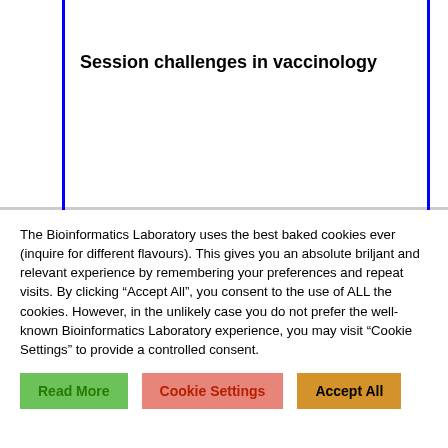Session challenges in vaccinology
The Bioinformatics Laboratory uses the best baked cookies ever (inquire for different flavours). This gives you an absolute briljant and relevant experience by remembering your preferences and repeat visits. By clicking “Accept All”, you consent to the use of ALL the cookies. However, in the unlikely case you do not prefer the well-known Bioinformatics Laboratory experience, you may visit “Cookie Settings” to provide a controlled consent.
Read More | Cookie Settings | Accept All